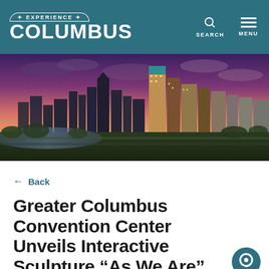Experience Columbus — SEARCH MENU
[Figure (photo): Aerial dusk/sunset panoramic photo of the Columbus, Ohio downtown skyline with purple and pink sky.]
← Back
Greater Columbus Convention Center Unveils Interactive Sculpture “As We Are”
Aug 31, 2017